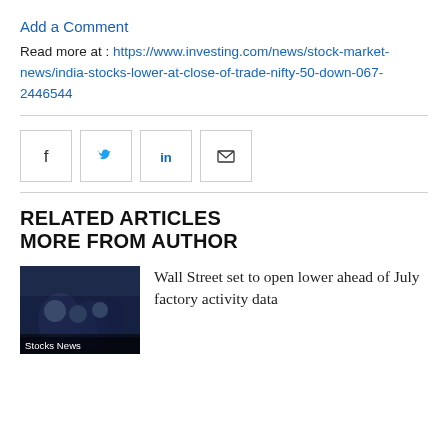Add a Comment
Read more at : https://www.investing.com/news/stock-market-news/india-stocks-lower-at-close-of-trade-nifty-50-down-067-2446544
[Figure (infographic): Social share buttons: Facebook, Twitter, LinkedIn, Email]
RELATED ARTICLES MORE FROM AUTHOR
[Figure (photo): Stocks News thumbnail image showing people on trading floor]
Wall Street set to open lower ahead of July factory activity data